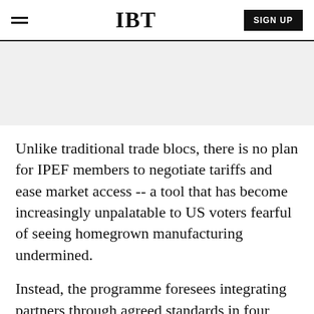IBT
[Figure (other): Gray advertisement placeholder banner]
Unlike traditional trade blocs, there is no plan for IPEF members to negotiate tariffs and ease market access -- a tool that has become increasingly unpalatable to US voters fearful of seeing homegrown manufacturing undermined.
Instead, the programme foresees integrating partners through agreed standards in four main